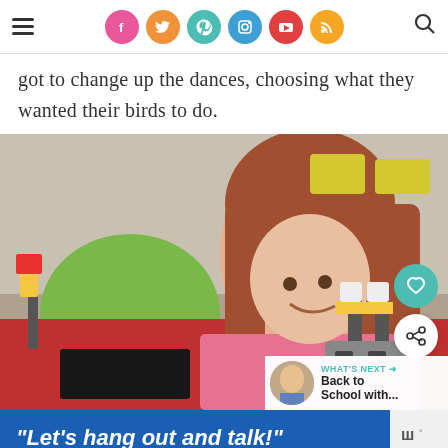Social media navigation header with hamburger menu, social icons (Facebook, Twitter, Pinterest, Instagram, YouTube, RSS), and search icon
got to change up the dances, choosing what they wanted their birds to do.
[Figure (photo): A young girl with long red hair in a pink shirt leaning over a red table, smiling at two small LEGO bird figures connected to a robotic base, with a laptop nearby. Classroom setting with yellow chairs in background. Overlay buttons for heart/like and share. 'What's Next' thumbnail with text 'Back to School with...']
"Let's hang out and talk!"